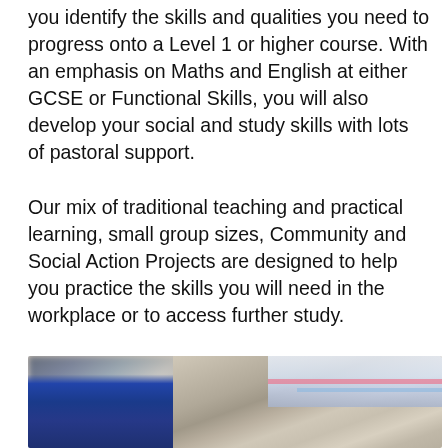you identify the skills and qualities you need to progress onto a Level 1 or higher course. With an emphasis on Maths and English at either GCSE or Functional Skills, you will also develop your social and study skills with lots of pastoral support.
Our mix of traditional teaching and practical learning, small group sizes, Community and Social Action Projects are designed to help you practice the skills you will need in the workplace or to access further study.
[Figure (photo): A blurred photograph of a teacher leaning over to assist students who are looking at a computer screen in a classroom setting.]